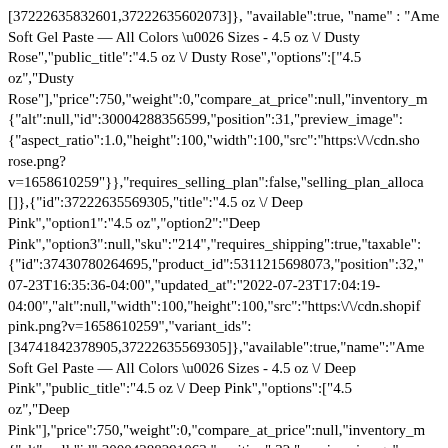[37222635832601,37222635602073]}, "available":true, "name": "Ame Soft Gel Paste — All Colors \u0026 Sizes - 4.5 oz \/ Dusty Rose","public_title":"4.5 oz \/ Dusty Rose","options":["4.5 oz","Dusty Rose"],"price":750,"weight":0,"compare_at_price":null,"inventory_m {"alt":null,"id":30004288356599,"position":31,"preview_image": {"aspect_ratio":1.0,"height":100,"width":100,"src":"https:\/\/cdn.sho rose.png? v=1658610259"}},"requires_selling_plan":false,"selling_plan_alloca []},{"id":37222635569305,"title":"4.5 oz \/ Deep Pink","option1":"4.5 oz","option2":"Deep Pink","option3":null,"sku":"214","requires_shipping":true,"taxable": {"id":37430780264695,"product_id":5311215698073,"position":32," 07-23T16:35:36-04:00","updated_at":"2022-07-23T17:04:19-04:00","alt":null,"width":100,"height":100,"src":"https:\/\/cdn.shopif pink.png?v=1658610259","variant_ids": [34741842378905,37222635569305]},"available":true,"name":"Ame Soft Gel Paste — All Colors \u0026 Sizes - 4.5 oz \/ Deep Pink","public_title":"4.5 oz \/ Deep Pink","options":["4.5 oz","Deep Pink"],"price":750,"weight":0,"compare_at_price":null,"inventory_m {"alt":null,"id":30004288291063,"position":32,"preview_image": {"aspect_ratio":1.0,"height":100,"width":100,"src":"https:\/\/cdn.sho pink.png? v=1658610259"}},"requires_selling_plan":false,"selling_plan_alloca []},{"id":37222635698073,"title":"4.5 oz \/...